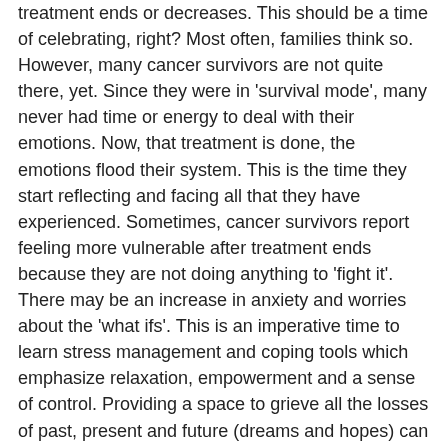treatment ends or decreases. This should be a time of celebrating, right? Most often, families think so. However, many cancer survivors are not quite there, yet. Since they were in 'survival mode', many never had time or energy to deal with their emotions. Now, that treatment is done, the emotions flood their system. This is the time they start reflecting and facing all that they have experienced. Sometimes, cancer survivors report feeling more vulnerable after treatment ends because they are not doing anything to 'fight it'. There may be an increase in anxiety and worries about the 'what ifs'. This is an imperative time to learn stress management and coping tools which emphasize relaxation, empowerment and a sense of control. Providing a space to grieve all the losses of past, present and future (dreams and hopes) can be an important step in healing.
Understanding the holistic impact of a diagnosis provides validation to the many mixed, overwhelming and ambiguous feelings one experiences. It is also a reminder that focus should not only be placed on the physical aspect of a